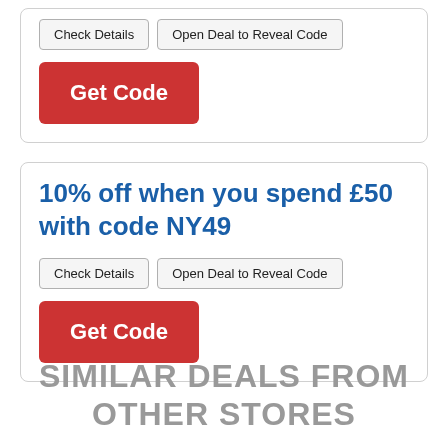Check Details | Open Deal to Reveal Code | Get Code
10% off when you spend £50 with code NY49
Check Details | Open Deal to Reveal Code | Get Code
SIMILAR DEALS FROM OTHER STORES